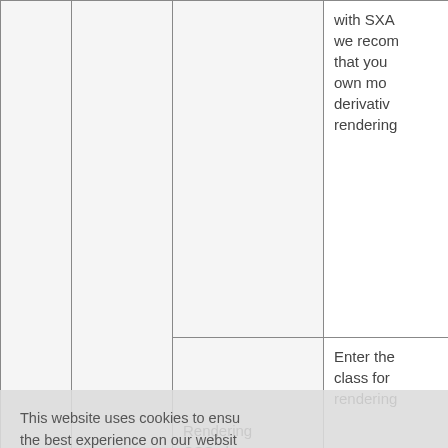|  |  | Field | Description |
| --- | --- | --- | --- |
|  |  |  | with SXA we recommend that you own mode derivative rendering |
|  |  | Rendering CSS class | Enter the class for rendering |
|  |  |  | Select the rendering paramet mode:
• Inh exi ren pa cre |
This website uses cookies to ensure the best experience on our website. Learn more